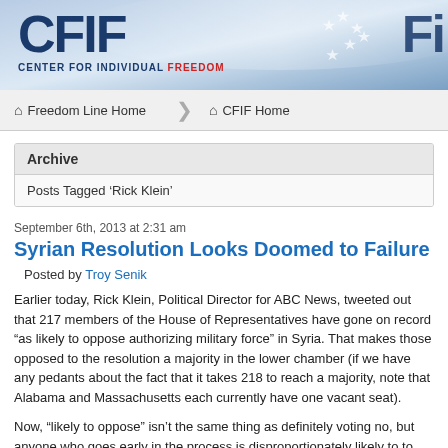[Figure (logo): CFIF - Center for Individual Freedom banner logo with blue and white stars background and partial 'Fi' letters on right]
Freedom Line Home   CFIF Home
Archive
Posts Tagged ‘Rick Klein’
September 6th, 2013 at 2:31 am
Syrian Resolution Looks Doomed to Failure
Posted by Troy Senik
Earlier today, Rick Klein, Political Director for ABC News, tweeted out that 217 members of the House of Representatives have gone on record “as likely to oppose authorizing military force” in Syria. That makes those opposed to the resolution a majority in the lower chamber (if we have any pedants in the audience who want to complain about the fact that it takes 218 to reach a majority, note that Alabama and Massachusetts each currently have one vacant seat).
Now, “likely to oppose” isn’t the same thing as definitely voting no, but anyone who goes on record this early in the process is disproportionately likely to to stick to his guns. And it’s clear that the momentum is all going in one direction — and it’s not the president’s.